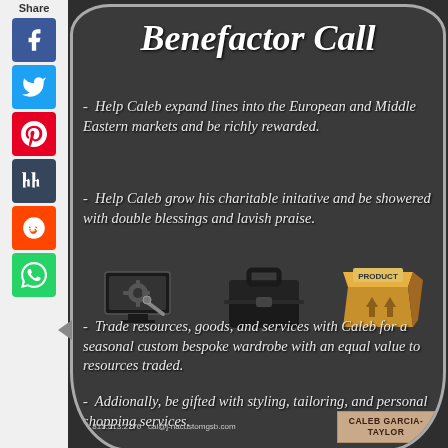[Figure (infographic): Social media share sidebar with Facebook, Twitter, Pinterest, Tumblr, Reddit, WhatsApp icons]
Benefactor Call
- Help Caleb expand lines into the European and Middle Eastern markets and be richly rewarded.
- Help Caleb grow his charitable initative and be showered with double blessings and lavish praise.
[Figure (illustration): Three icons: computer with gear/wrench, briefcase/suitcase, product shipping box]
- Trade resources, goods, and services with Caleb for a seasonal custom bespoke wardrobe with an equal value to resources traded.
- Addionally, be gifted with styling, tailoring, and personal shopping services.
+1 815.513.2776  cal@j-nacustomgsb.com
CALEB GARCIA-TAYLOR